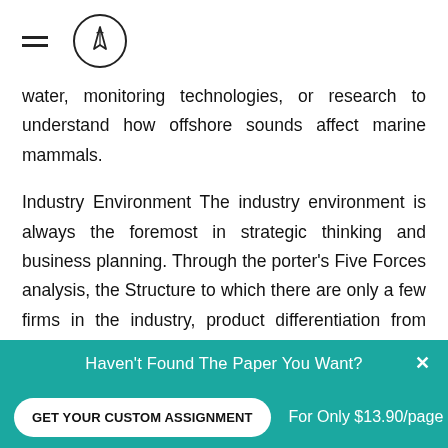[hamburger menu icon] [pencil/logo icon]
water, monitoring technologies, or research to understand how offshore sounds affect marine mammals.
Industry Environment The industry environment is always the foremost in strategic thinking and business planning. Through the porter's Five Forces analysis, the Structure to which there are only a few firms in the industry, product differentiation from other companies, relationship between volume of production and average cost per unit, barriers companies must overcome to enter the industry can be identified. A company has a very strong position in
Haven't Found The Paper You Want? x GET YOUR CUSTOM ASSIGNMENT For Only $13.90/page